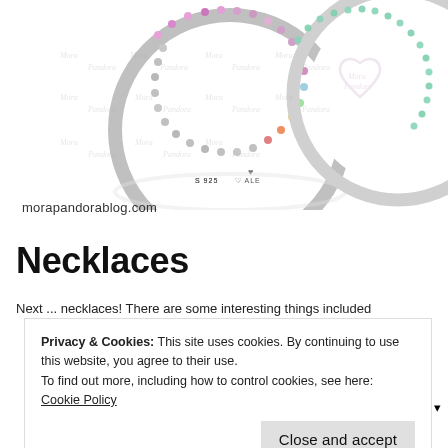[Figure (photo): Two Pandora ring products with colorful gemstones (pink/multicolor and mint green) photographed on white background, with Mora Pandora watermark text repeated across the image]
morapandorablog.com
Necklaces
Next ... necklaces! There are some interesting things included
Privacy & Cookies: This site uses cookies. By continuing to use this website, you agree to their use.
To find out more, including how to control cookies, see here: Cookie Policy
Close and accept
[Figure (photo): Partial view of a necklace at the bottom of the page with handwritten script 'heart']